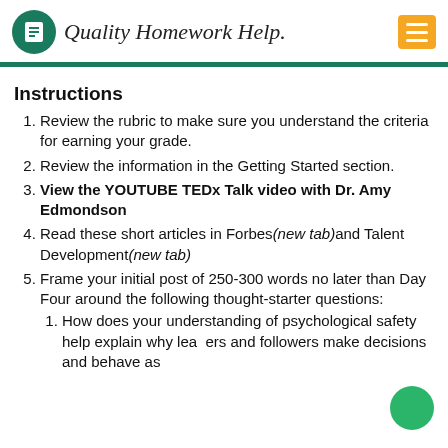Quality Homework Help.
Instructions
Review the rubric to make sure you understand the criteria for earning your grade.
Review the information in the Getting Started section.
View the YOUTUBE TEDx Talk video with Dr. Amy Edmondson
Read these short articles in Forbes(new tab)and Talent Development(new tab)
Frame your initial post of 250-300 words no later than Day Four around the following thought-starter questions:
How does your understanding of psychological safety help explain why leaders and followers make decisions and behave as